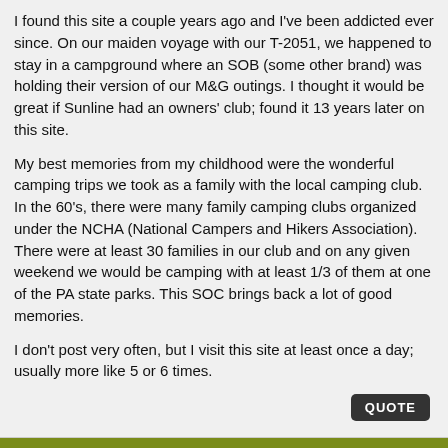I found this site a couple years ago and I've been addicted ever since. On our maiden voyage with our T-2051, we happened to stay in a campground where an SOB (some other brand) was holding their version of our M&G outings. I thought it would be great if Sunline had an owners' club; found it 13 years later on this site.
My best memories from my childhood were the wonderful camping trips we took as a family with the local camping club. In the 60's, there were many family camping clubs organized under the NCHA (National Campers and Hikers Association). There were at least 30 families in our club and on any given weekend we would be camping with at least 1/3 of them at one of the PA state parks. This SOC brings back a lot of good memories.
I don't post very often, but I visit this site at least once a day; usually more like 5 or 6 times.
QUOTE
10-25-2009, 06:33 PM    #10
Poppy & Nana
Join Date: Nov 2006
Location: Old Forge
Posts: 2,909